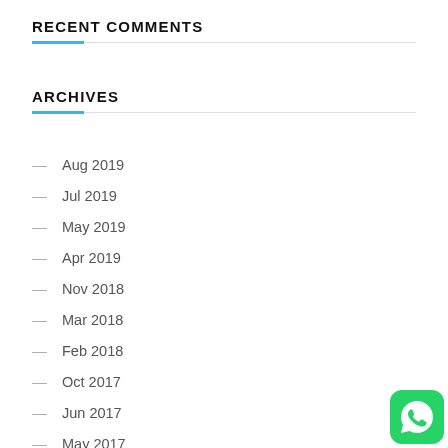RECENT COMMENTS
ARCHIVES
— Aug 2019
— Jul 2019
— May 2019
— Apr 2019
— Nov 2018
— Mar 2018
— Feb 2018
— Oct 2017
— Jun 2017
— May 2017
[Figure (logo): WhatsApp icon — green rounded square with white phone handset in speech bubble]